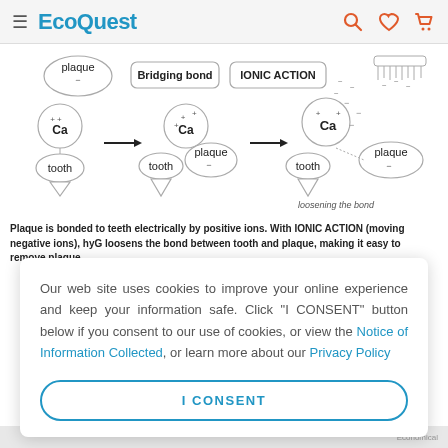EcoQuest
[Figure (schematic): Ionic action diagram showing plaque bonded to tooth by positive Ca ions, with arrows showing bridging bond and ionic action loosening the bond between tooth and plaque]
Plaque is bonded to teeth electrically by positive ions. With IONIC ACTION (moving negative ions), hyG loosens the bond between tooth and plaque, making it easy to remove plaque.
Our web site uses cookies to improve your online experience and keep your information safe. Click "I CONSENT" button below if you consent to our use of cookies, or view the Notice of Information Collected, or learn more about our Privacy Policy
I CONSENT